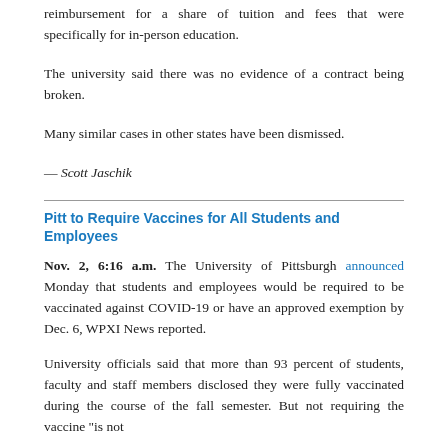reimbursement for a share of tuition and fees that were specifically for in-person education.
The university said there was no evidence of a contract being broken.
Many similar cases in other states have been dismissed.
— Scott Jaschik
Pitt to Require Vaccines for All Students and Employees
Nov. 2, 6:16 a.m. The University of Pittsburgh announced Monday that students and employees would be required to be vaccinated against COVID-19 or have an approved exemption by Dec. 6, WPXI News reported.
University officials said that more than 93 percent of students, faculty and staff members disclosed they were fully vaccinated during the course of the fall semester. But not requiring the vaccine "is not